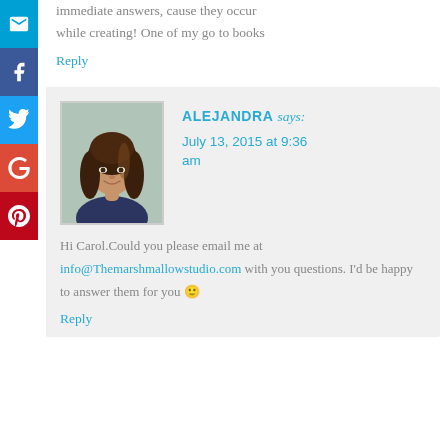immediate answers, cause they occur while creating! One of my go to books
Reply
[Figure (photo): Profile photo of Alejandra, a woman with long brown hair, smiling]
ALEJANDRA says: July 13, 2015 at 9:36 am
Hi Carol.Could you please email me at info@Themarshmallowstudio.com with you questions. I'd be happy to answer them for you 🙂
Reply